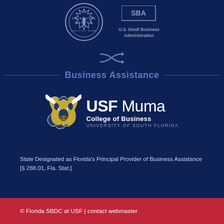[Figure (logo): Accredited Member circular badge seal in dark navy/white]
[Figure (logo): U.S. Small Business Administration logo with text]
[Figure (other): Shuffle/arrows decorative icon in gray]
Business Assistance
[Figure (logo): USF Muma College of Business, University of South Florida logo with bull mascot]
State Designated as Florida's Principal Provider of Business Assistance [§ 288.01, Fla. Stat.]
© Florida SBDC at USF | contact webmaster